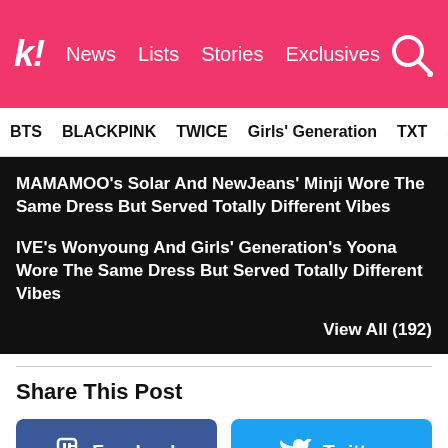Koreaboo — News | Lists | Stories | Exclusives
BTS | BLACKPINK | TWICE | Girls' Generation | TXT | SEVE
MAMAMOO's Solar And NewJeans' Minji Wore The Same Dress But Served Totally Different Vibes
IVE's Wonyoung And Girls' Generation's Yoona Wore The Same Dress But Served Totally Different Vibes
View All (192)
Share This Post
Facebook
Twitter